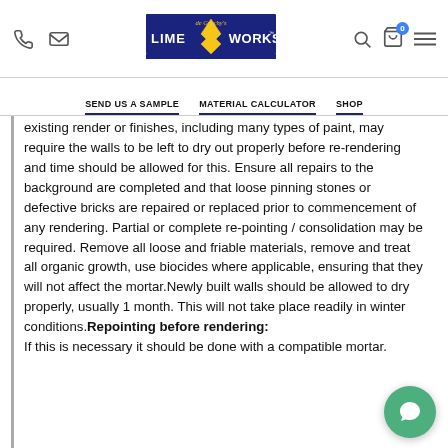[Phone icon] [Email icon] de Gruchy's LimeWorks.us [Search icon] [Cart icon] [Menu icon]
SEND US A SAMPLE   MATERIAL CALCULATOR   SHOP
existing render or finishes, including many types of paint, may require the walls to be left to dry out properly before re-rendering and time should be allowed for this. Ensure all repairs to the background are completed and that loose pinning stones or defective bricks are repaired or replaced prior to commencement of any rendering. Partial or complete re-pointing / consolidation may be required. Remove all loose and friable materials, remove and treat all organic growth, use biocides where applicable, ensuring that they will not affect the mortar.Newly built walls should be allowed to dry properly, usually 1 month. This will not take place readily in winter conditions. Repointing before rendering: If this is necessary it should be done with a compatible mortar.